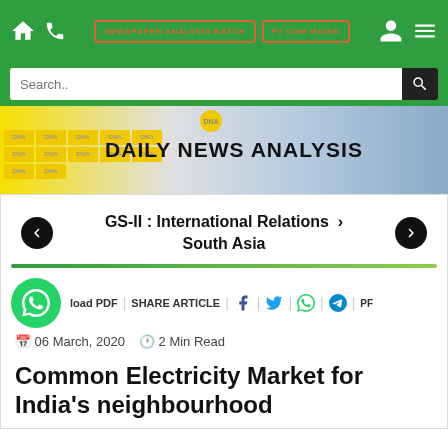NEWSPAPER ANALYSIS BATCH | PT CUM MAINS
[Figure (screenshot): Website navigation bar with green background, home icon, phone icon, two outlined buttons (NEWSPAPER ANALYSIS BATCH, PT CUM MAINS), user icon, and menu icon]
[Figure (screenshot): Search bar with magnifying glass button on green background]
[Figure (illustration): Daily News Analysis banner with DNA pattern tiles on yellow-left to blue-right gradient background]
GS-II : International Relations > South Asia
load PDF | SHARE ARTICLE | [social icons] PF
06 March, 2020  2 Min Read
Common Electricity Market for India's neighbourhood